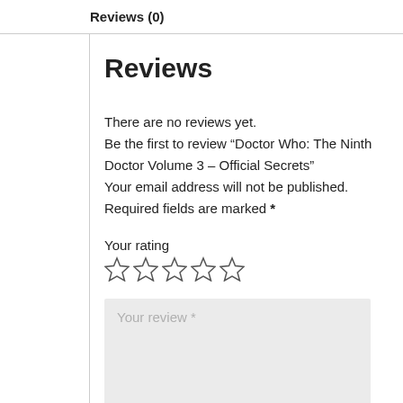Reviews (0)
Reviews
There are no reviews yet.
Be the first to review “Doctor Who: The Ninth Doctor Volume 3 – Official Secrets”
Your email address will not be published.
Required fields are marked *
Your rating
Your review *